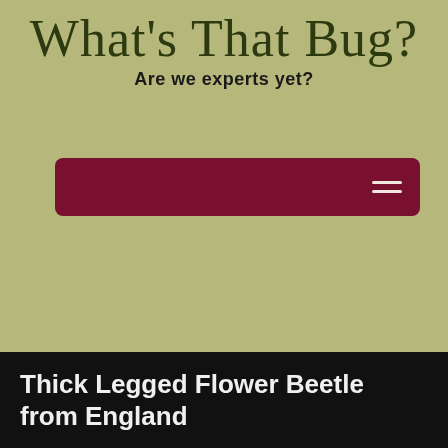What's That Bug?
Are we experts yet?
[Figure (screenshot): Dark maroon navigation bar with hamburger menu icon on the right]
From the monthly archives: "May 2020"
[Figure (screenshot): Patreon button in coral/orange-red with Patreon logo and text BECOME A PATRON]
Thick Legged Flower Beetle from England